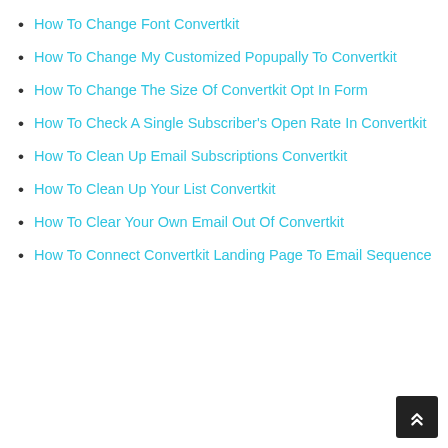How To Change Font Convertkit
How To Change My Customized Popupally To Convertkit
How To Change The Size Of Convertkit Opt In Form
How To Check A Single Subscriber's Open Rate In Convertkit
How To Clean Up Email Subscriptions Convertkit
How To Clean Up Your List Convertkit
How To Clear Your Own Email Out Of Convertkit
How To Connect Convertkit Landing Page To Email Sequence